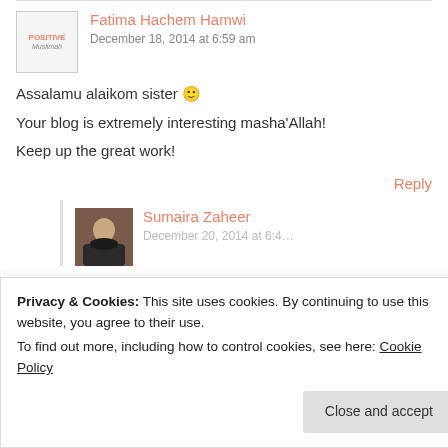Fatima Hachem Hamwi
December 18, 2014 at 6:59 am
Assalamu alaikom sister 🙂
Your blog is extremely interesting masha'Allah!
Keep up the great work!
Reply
Sumaira Zaheer
Privacy & Cookies: This site uses cookies. By continuing to use this website, you agree to their use.
To find out more, including how to control cookies, see here: Cookie Policy
Close and accept